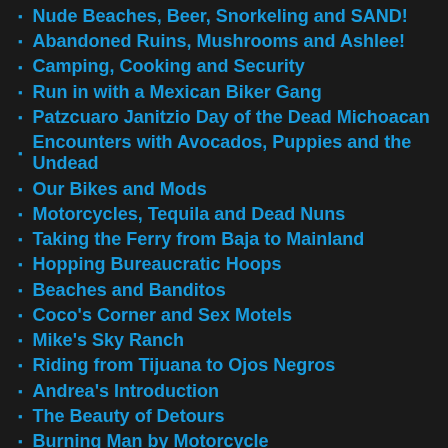Nude Beaches, Beer, Snorkeling and SAND!
Abandoned Ruins, Mushrooms and Ashlee!
Camping, Cooking and Security
Run in with a Mexican Biker Gang
Patzcuaro Janitzio Day of the Dead Michoacan
Encounters with Avocados, Puppies and the Undead
Our Bikes and Mods
Motorcycles, Tequila and Dead Nuns
Taking the Ferry from Baja to Mainland
Hopping Bureaucratic Hoops
Beaches and Banditos
Coco's Corner and Sex Motels
Mike's Sky Ranch
Riding from Tijuana to Ojos Negros
Andrea's Introduction
The Beauty of Detours
Burning Man by Motorcycle
Truckoventuring
From Prince George to Hixon
UPDATE: ALL IS WELL
BAD NEWS BLUES :(